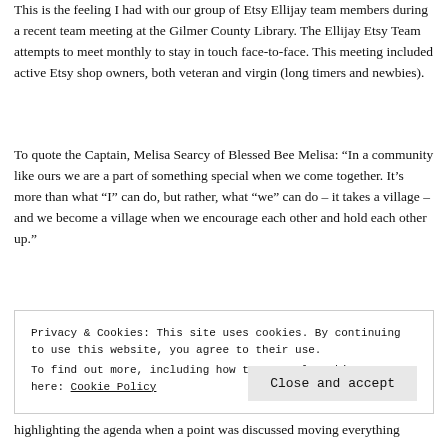This is the feeling I had with our group of Etsy Ellijay team members during a recent team meeting at the Gilmer County Library. The Ellijay Etsy Team attempts to meet monthly to stay in touch face-to-face. This meeting included active Etsy shop owners, both veteran and virgin (long timers and newbies).
To quote the Captain, Melisa Searcy of Blessed Bee Melisa: “In a community like ours we are a part of something special when we come together. It’s more than what “I” can do, but rather, what “we” can do – it takes a village – and we become a village when we encourage each other and hold each other up.”
Privacy & Cookies: This site uses cookies. By continuing to use this website, you agree to their use.
To find out more, including how to control cookies, see here: Cookie Policy
highlighting the agenda when a point was discussed moving everything